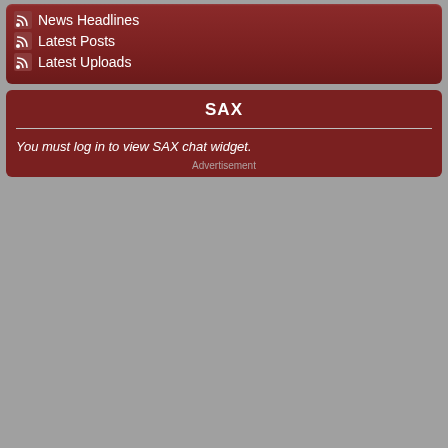News Headlines
Latest Posts
Latest Uploads
SAX
You must log in to view SAX chat widget.
Advertisement